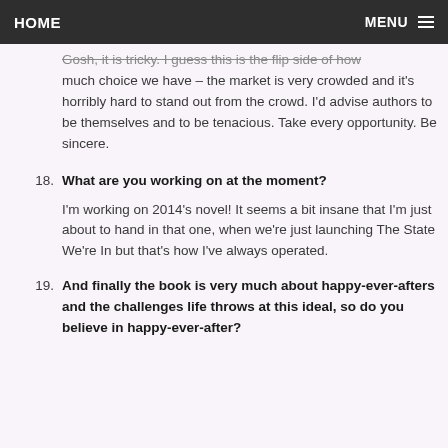HOME   MENU
Gosh, it is tricky. I guess this is the flip side of how much choice we have – the market is very crowded and it's horribly hard to stand out from the crowd. I'd advise authors to be themselves and to be tenacious. Take every opportunity. Be sincere.
18. What are you working on at the moment?
I'm working on 2014's novel! It seems a bit insane that I'm just about to hand in that one, when we're just launching The State We're In but that's how I've always operated.
19. And finally the book is very much about happy-ever-afters and the challenges life throws at this ideal, so do you believe in happy-ever-after?